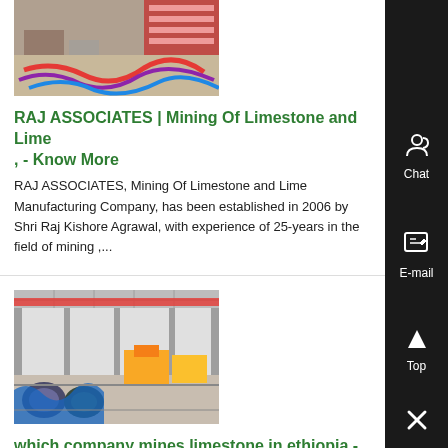[Figure (photo): Image of mining/industrial equipment with colourful cables on a floor]
RAJ ASSOCIATES | Mining Of Limestone and Lime , - Know More
RAJ ASSOCIATES, Mining Of Limestone and Lime Manufacturing Company, has been established in 2006 by Shri Raj Kishore Agrawal, with experience of 25-years in the field of mining ,...
[Figure (photo): Interior of a large industrial factory or warehouse with machinery and overhead cranes]
which company mines limestone in ethiopia - Know More
Limestone map location in ethiopia maroevenementennlLimestone map location in ethiopia the company mines limestone in ethiopia wet dry ball mill for limestone quotjoy stonequot is a professional stone manufacturer and exporter which was established in 2011 in ,...